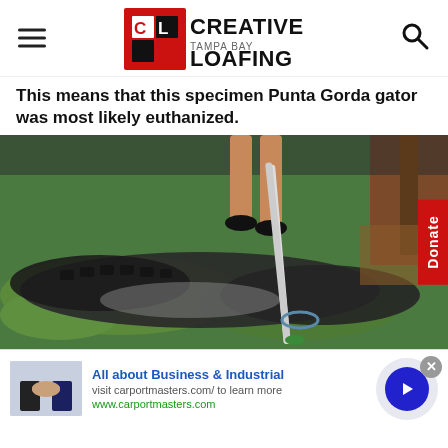Creative Loafing Tampa Bay
This means that this specimen Punta Gorda gator was most likely euthanized.
[Figure (photo): A large alligator being restrained on grass with a pole/snare by a handler whose legs are visible. The alligator is lying on green grass near mulch. A red 'Donate' button is visible on the right side.]
All about Business & Industrial
visit carportmasters.com/ to learn more
www.carportmasters.com